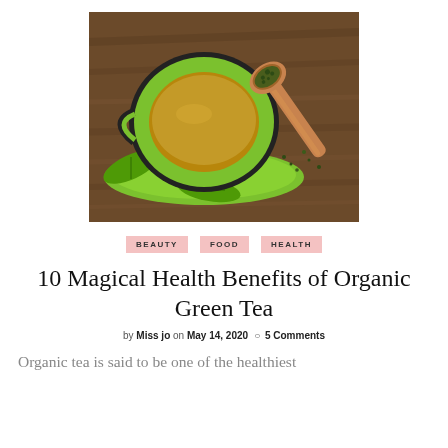[Figure (photo): Overhead view of a green tea cup on a green saucer with tea leaves, alongside a wooden spoon with loose tea leaves, on a wooden table background.]
BEAUTY   FOOD   HEALTH
10 Magical Health Benefits of Organic Green Tea
by Miss jo on May 14, 2020  ○ 5 Comments
Organic tea is said to be one of the healthiest